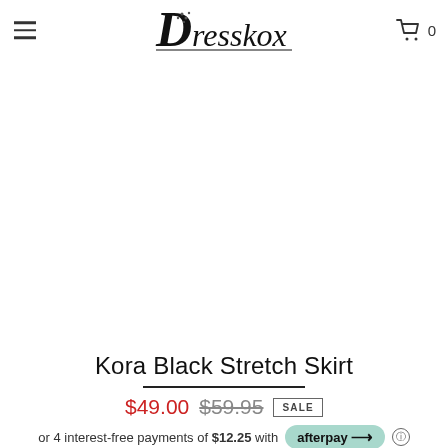Dresskox — navigation header with menu icon, logo, and cart icon (0 items)
[Figure (photo): Product photo area — white/empty product image space for Kora Black Stretch Skirt]
Kora Black Stretch Skirt
$49.00  $59.95  SALE
or 4 interest-free payments of $12.25 with afterpay